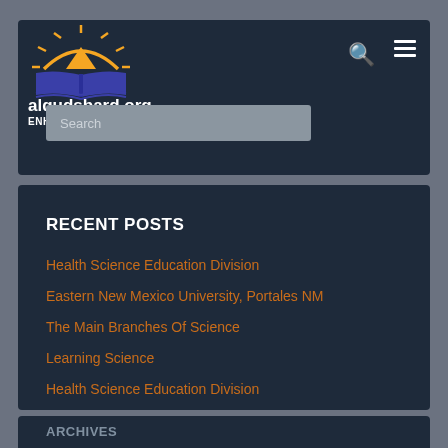alqudsbard.org
ENHANCE YOUR EDUCATION
RECENT POSTS
Health Science Education Division
Eastern New Mexico University, Portales NM
The Main Branches Of Science
Learning Science
Health Science Education Division